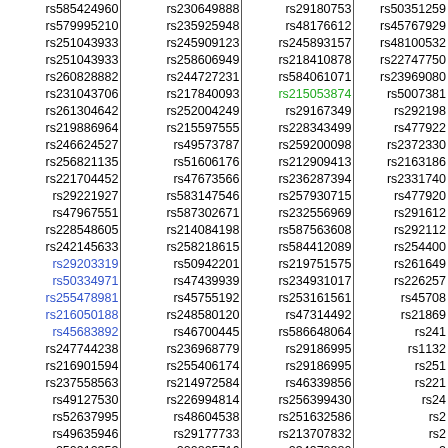| rs585424960 | rs230649888 | rs29180753 | rs50351259 |
| rs579995210 | rs235925948 | rs48176612 | rs45767929 |
| rs251043933 | rs245909123 | rs245893157 | rs48100532 |
| rs251043933 | rs258606949 | rs218410878 | rs22747750 |
| rs260828882 | rs244727231 | rs584061071 | rs23969080 |
| rs231043706 | rs217840093 | rs215053874 | rs5007381 |
| rs261304642 | rs252004249 | rs29167349 | rs292198 |
| rs219886964 | rs215597555 | rs228343499 | rs477922 |
| rs246624527 | rs49573787 | rs259200098 | rs2372330 |
| rs256821135 | rs51606176 | rs212909413 | rs2163186 |
| rs221704452 | rs47673566 | rs236287394 | rs2331740 |
| rs29221927 | rs583147546 | rs257930715 | rs477920 |
| rs47967551 | rs587302671 | rs232556969 | rs291612 |
| rs228548605 | rs214084198 | rs587563608 | rs292112 |
| rs242145633 | rs258218615 | rs584412089 | rs254400 |
| rs29203319 | rs50942201 | rs219751575 | rs261649 |
| rs50334971 | rs47439939 | rs234931017 | rs226257 |
| rs255478981 | rs45755192 | rs253161561 | rs45708 |
| rs216050188 | rs248580120 | rs47314492 | rs21869 |
| rs45683892 | rs46700445 | rs586648064 | rs241 |
| rs247744238 | rs236968779 | rs29186995 | rs1132 |
| rs216901594 | rs255406174 | rs29186995 | rs251 |
| rs237558563 | rs214972584 | rs46339856 | rs221 |
| rs49127530 | rs226994814 | rs256399430 | rs24 |
| rs52637995 | rs48604538 | rs251632586 | rs2 |
| rs49635946 | rs29177733 | rs213707832 | rs2 |
| rs250912353 | rs220825716 | rs234972280 | rs2 |
| rs221632886 | rs49235869 | rs252994811 | rs2 |